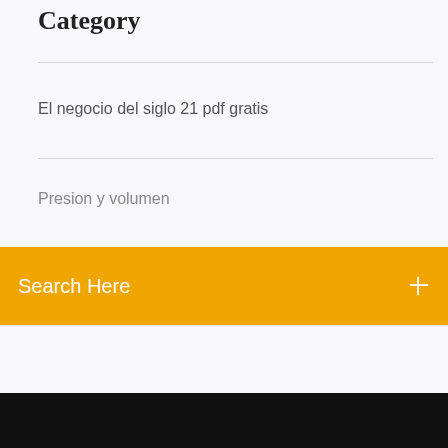Category
El negocio del siglo 21 pdf gratis
Presion y volumen
Search Here